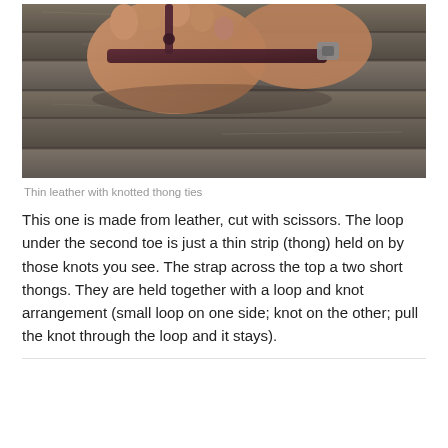[Figure (photo): Close-up photo of a human foot wearing a thin leather sandal with knotted thong ties, resting on weathered wooden deck boards.]
Thin leather with knotted thong ties
This one is made from leather, cut with scissors. The loop under the second toe is just a thin strip (thong) held on by those knots you see. The strap across the top a two short thongs. They are held together with a loop and knot arrangement (small loop on one side; knot on the other; pull the knot through the loop and it stays).